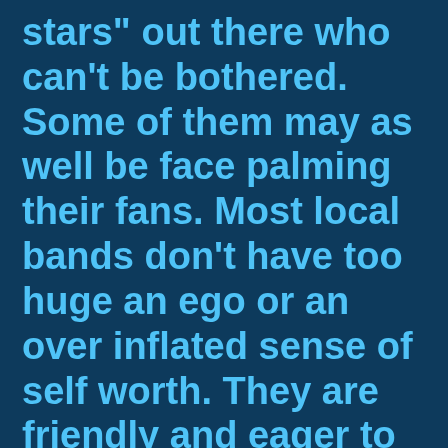stars" out there who can't be bothered. Some of them may as well be face palming their fans. Most local bands don't have too huge an ego or an over inflated sense of self worth. They are friendly and eager to share their music, knowledge, and experiences with you. For young, impressionable musicians out there who are just learning, this is a gift. Successful local bands that interact with their fans are doing it right. When I was a young, impressionable musician, some of the people I looked up to most weren't huge rock stars